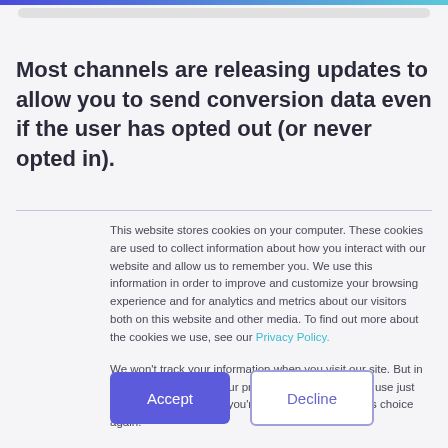Most channels are releasing updates to allow you to send conversion data even if the user has opted out (or never opted in).
This website stores cookies on your computer. These cookies are used to collect information about how you interact with our website and allow us to remember you. We use this information in order to improve and customize your browsing experience and for analytics and metrics about our visitors both on this website and other media. To find out more about the cookies we use, see our Privacy Policy.

We won't track your information when you visit our site. But in order to comply with your preferences, we'll have to use just one tiny cookie so that you're not asked to make this choice again.